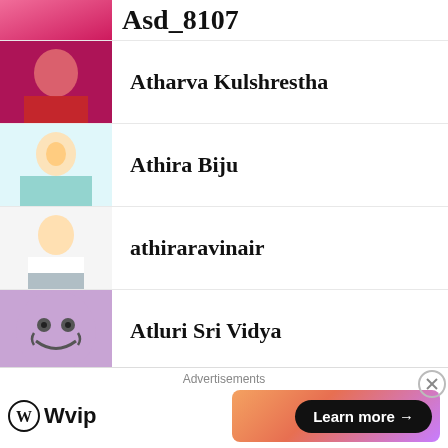Asd_8107 (partial, top-cropped)
Atharva Kulshrestha
Athira Biju
athiraravinair
Atluri Sri Vidya
aunshuman pramanik
Aviral Shyam
Ayush Bajpai
Advertisements
[Figure (logo): WordPress VIP logo and Learn more advertisement banner]